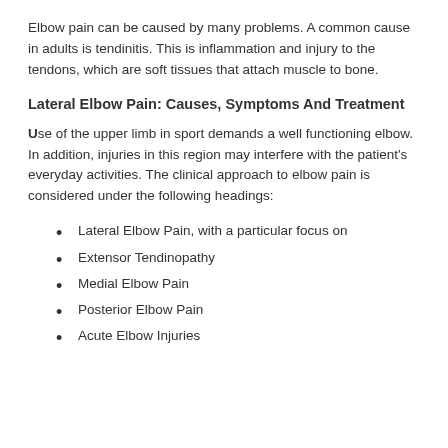Elbow pain can be caused by many problems. A common cause in adults is tendinitis. This is inflammation and injury to the tendons, which are soft tissues that attach muscle to bone.
Lateral Elbow Pain: Causes, Symptoms And Treatment
Use of the upper limb in sport demands a well functioning elbow. In addition, injuries in this region may interfere with the patient's everyday activities. The clinical approach to elbow pain is considered under the following headings:
Lateral Elbow Pain, with a particular focus on
Extensor Tendinopathy
Medial Elbow Pain
Posterior Elbow Pain
Acute Elbow Injuries